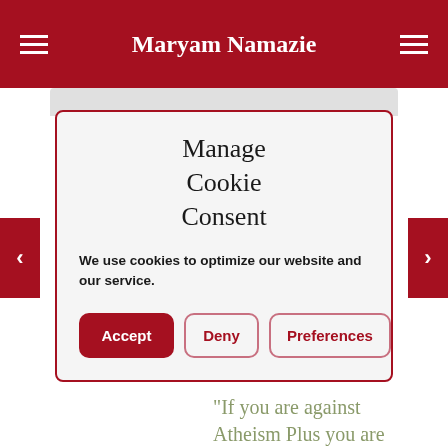Maryam Namazie
Manage Cookie Consent
We use cookies to optimize our website and our service.
Accept
Deny
Preferences
"If you are against Atheism Plus you are